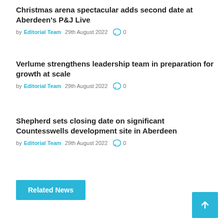Christmas arena spectacular adds second date at Aberdeen's P&J Live
by Editorial Team 29th August 2022 0
Verlume strengthens leadership team in preparation for growth at scale
by Editorial Team 29th August 2022 0
Shepherd sets closing date on significant Countesswells development site in Aberdeen
by Editorial Team 29th August 2022 0
Related News